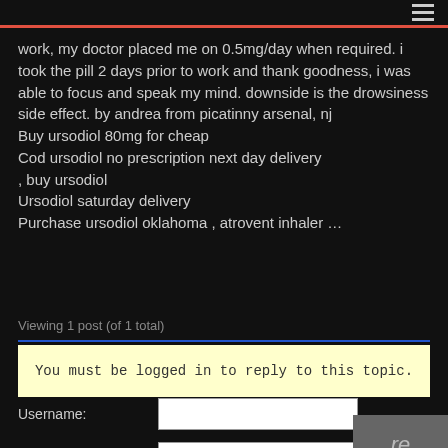≡
work, my doctor placed me on 0.5mg/day when required. i took the pill 2 days prior to work and thank goodness, i was able to focus and speak my mind. downside is the drowsiness side effect. by andrea from picatinny arsenal, nj
Buy ursodiol 80mg for cheap
Cod ursodiol no prescription next day delivery
, buy ursodiol
Ursodiol saturday delivery
Purchase ursodiol oklahoma , atrovent inhaler ...
Viewing 1 post (of 1 total)
You must be logged in to reply to this topic.
Username:
Password: